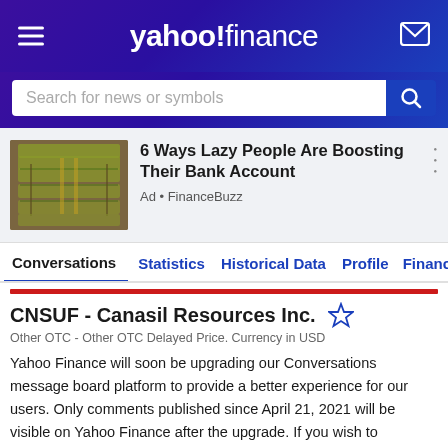yahoo!finance
Search for news or symbols
[Figure (screenshot): Advertisement image showing stacked bundles of US dollar bills tied with rubber bands]
6 Ways Lazy People Are Boosting Their Bank Account
Ad • FinanceBuzz
Conversations  Statistics  Historical Data  Profile  Financ
CNSUF - Canasil Resources Inc.
Other OTC - Other OTC Delayed Price. Currency in USD
Yahoo Finance will soon be upgrading our Conversations message board platform to provide a better experience for our users. Only comments published since April 21, 2021 will be visible on Yahoo Finance after the upgrade. If you wish to download and save any of your older comments, please submit a request via the Privacy Dashboard by no later than Aug. 15, 2022.